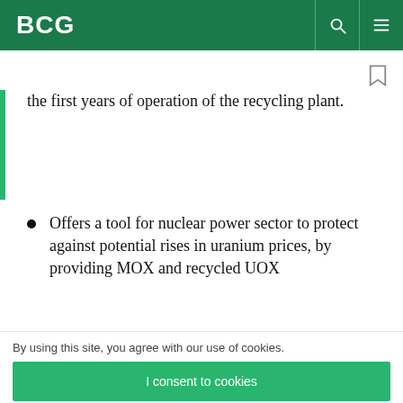BCG
the first years of operation of the recycling plant.
Offers a tool for nuclear power sector to protect against potential rises in uranium prices, by providing MOX and recycled UOX
By using this site, you agree with our use of cookies.
I consent to cookies
Want to know more?
Read our Cookie Policy